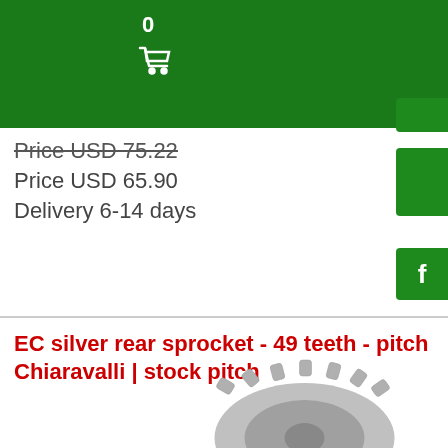0
Price USD 75.22
Price USD 65.90
Delivery 6-14 days
EC silver rear sprocket - 49 teeth - pitch Chiaravalli | stock pitch
[Figure (photo): Partial view of a silver rear sprocket gear with teeth visible]